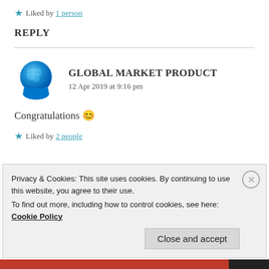★ Liked by 1 person
REPLY
GLOBAL MARKET PRODUCT
12 Apr 2019 at 9:16 pm
Congratulations 😊
★ Liked by 2 people
Privacy & Cookies: This site uses cookies. By continuing to use this website, you agree to their use.
To find out more, including how to control cookies, see here: Cookie Policy
Close and accept